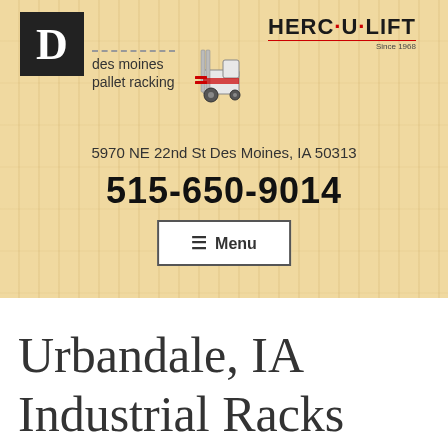[Figure (logo): Des Moines Pallet Racking logo: black square with letter D, text 'des moines pallet racking', and Herc-U-Lift forklift logo with text 'HERC·U·LIFT Since 1968']
5970 NE 22nd St Des Moines, IA 50313
515-650-9014
≡ Menu
Urbandale, IA Industrial Racks